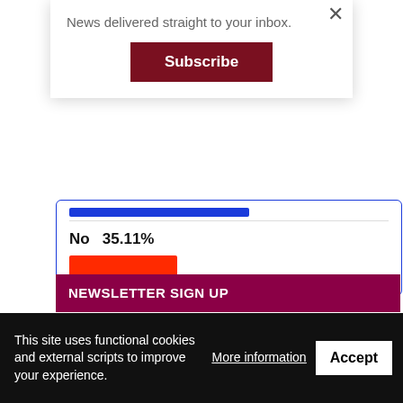News delivered straight to your inbox.
Subscribe
×
No   35.11%
NEWSLETTER SIGN UP
TAGS PLUS
This site uses functional cookies and external scripts to improve your experience.
More information
Accept